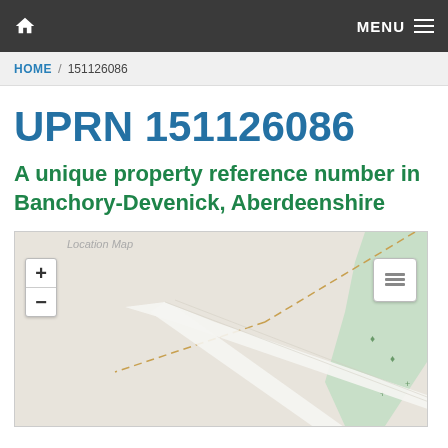HOME / 151126086
UPRN 151126086
A unique property reference number in Banchory-Devenick, Aberdeenshire
[Figure (map): Location map showing roads and land near Banchory-Devenick, Aberdeenshire with zoom controls and a layer switcher button]